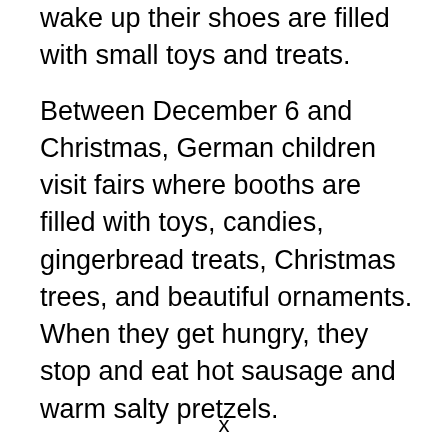wake up their shoes are filled with small toys and treats.
Between December 6 and Christmas, German children visit fairs where booths are filled with toys, candies, gingerbread treats, Christmas trees, and beautiful ornaments. When they get hungry, they stop and eat hot sausage and warm salty pretzels.
On Christmas Eve, the children wait outside the Christmas room while their parents make their final preparations. Then, they go into the room to see the decorated
x